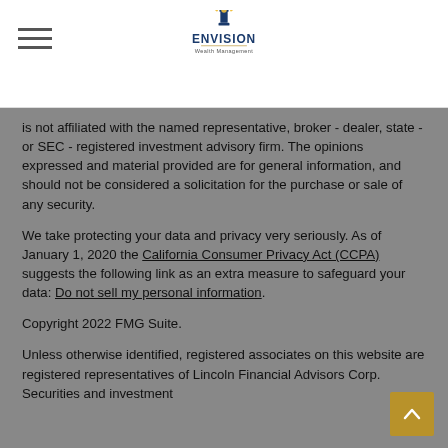[Figure (logo): Envision Wealth Management logo with lighthouse/star icon above the word ENVISION in blue/dark letters and 'Wealth Management' below in smaller text]
is not affiliated with the named representative, broker - dealer, state - or SEC - registered investment advisory firm. The opinions expressed and material provided are for general information, and should not be considered a solicitation for the purchase or sale of any security.
We take protecting your data and privacy very seriously. As of January 1, 2020 the California Consumer Privacy Act (CCPA) suggests the following link as an extra measure to safeguard your data: Do not sell my personal information.
Copyright 2022 FMG Suite.
Unless otherwise identified, registered associates on this website are registered representatives of Lincoln Financial Advisors Corp. Securities and investment